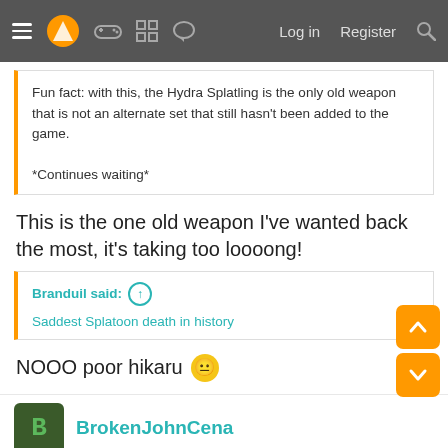☰ [logo] [game icon] [grid icon] [chat icon]   Log in   Register   🔍
Fun fact: with this, the Hydra Splatling is the only old weapon that is not an alternate set that still hasn't been added to the game.

*Continues waiting*
This is the one old weapon I've wanted back the most, it's taking too loooong!
Branduil said: ↑
Saddest Splatoon death in history
NOOO poor hikaru 😐
BrokenJohnCena